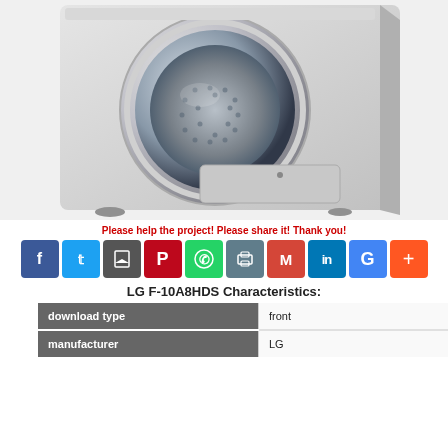[Figure (photo): LG front-load washing machine in silver/grey color, viewed from front-left angle, showing the circular glass door, drum, and lower access panel with feet]
Please help the project! Please share it! Thank you!
[Figure (infographic): Row of social media share buttons: Facebook (blue), Twitter (light blue), Bookmark (dark grey), Pinterest (red), WhatsApp (green), Print (grey-blue), Gmail (red), LinkedIn (blue), Google (blue), More (orange-red)]
LG F-10A8HDS Characteristics:
|  |  |
| --- | --- |
| download type | front |
| manufacturer | LG |